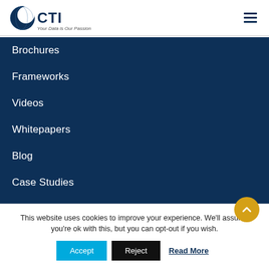[Figure (logo): CTI logo with crescent/globe icon and tagline 'Your Data is Our Passion']
Brochures
Frameworks
Videos
Whitepapers
Blog
Case Studies
Solution Briefs
Webinars
This website uses cookies to improve your experience. We'll assume you're ok with this, but you can opt-out if you wish.
Accept  Reject  Read More